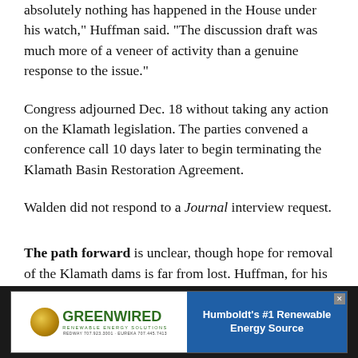absolutely nothing has happened in the House under his watch," Huffman said. "The discussion draft was much more of a veneer of activity than a genuine response to the issue."
Congress adjourned Dec. 18 without taking any action on the Klamath legislation. The parties convened a conference call 10 days later to begin terminating the Klamath Basin Restoration Agreement.
Walden did not respond to a Journal interview request.
The path forward is unclear, though hope for removal of the Klamath dams is far from lost. Huffman, for his part, said he's more energized on the issue than he has been in
[Figure (other): Advertisement banner for Greenwired Renewable Energy Solutions. Left side shows a gold circle logo next to green text reading 'GREENWIRED' with tagline 'RENEWABLE ENERGY SOLUTIONS' and contact info. Right side is blue background with white bold text reading 'Humboldt's #1 Renewable Energy Source'.]